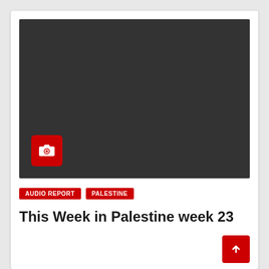[Figure (photo): Dark/black image placeholder with a red camera icon badge in the bottom-left corner]
AUDIO REPORT    PALESTINE
This Week in Palestine week 23